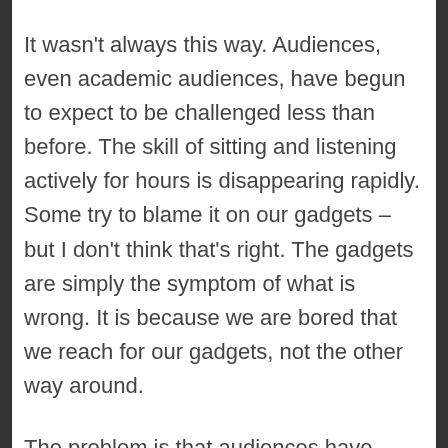It wasn't always this way. Audiences, even academic audiences, have begun to expect to be challenged less than before. The skill of sitting and listening actively for hours is disappearing rapidly. Some try to blame it on our gadgets – but I don't think that's right. The gadgets are simply the symptom of what is wrong. It is because we are bored that we reach for our gadgets, not the other way around.
The problem is that audiences have begun to believe that the pinnacle of lecturing is something close to the TED